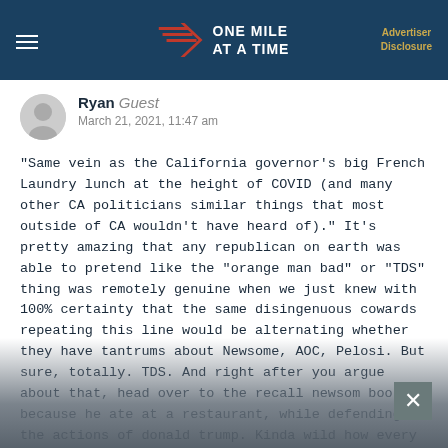ONE MILE AT A TIME | Advertiser Disclosure
Ryan Guest
March 21, 2021, 11:47 am
"Same vein as the California governor's big French Laundry lunch at the height of COVID (and many other CA politicians similar things that most outside of CA wouldn't have heard of)." It's pretty amazing that any republican on earth was able to pretend like the "orange man bad" or "TDS" thing was remotely genuine when we just knew with 100% certainty that the same disingenuous cowards repeating this line would be alternating whether they have tantrums about Newsome, AOC, Pelosi. But sure, totally. TDS. And right after you argue about that, head over to the recall newsom booth because he ate at a restaurant, while defending the actions of donald trump. Kinda wild how every single member of the Republican party